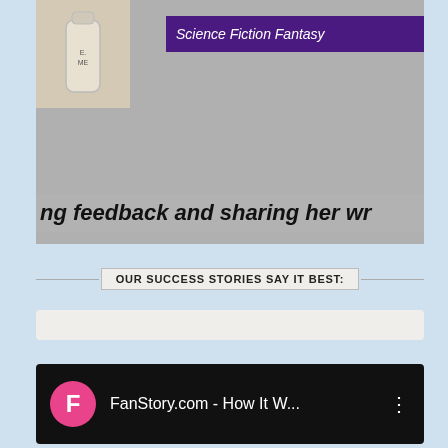[Figure (screenshot): A cropped screenshot showing a person holding a product bottle on the left, with a purple banner reading 'Science Fiction Fantasy' on the right, and a gray background with overlaid italic bold text reading 'ng feedback and sharing her wr' at the bottom of the image block.]
OUR SUCCESS STORIES SAY IT BEST:
[Figure (screenshot): A light beige/cream input or search bar element.]
[Figure (screenshot): A black video bar with a pink circular icon showing the letter F, followed by the text 'FanStory.com - How It W...' and three vertical dots menu icon on the right.]